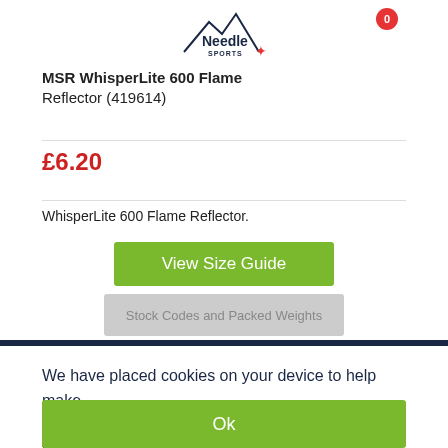Needle Sports
MSR WhisperLite 600 Flame Reflector (419614)
£6.20
WhisperLite 600 Flame Reflector.
View Size Guide
Stock Codes and Packed Weights
We have placed cookies on your device to help make this website better.
Ok